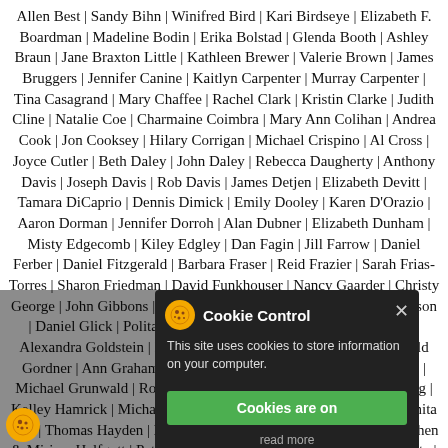Allen Best | Sandy Bihn | Winifred Bird | Kari Birdseye | Elizabeth F. Boardman | Madeline Bodin | Erika Bolstad | Glenda Booth | Ashley Braun | Jane Braxton Little | Kathleen Brewer | Valerie Brown | James Bruggers | Jennifer Canine | Kaitlyn Carpenter | Murray Carpenter | Tina Casagrand | Mary Chaffee | Rachel Clark | Kristin Clarke | Judith Cline | Natalie Coe | Charmaine Coimbra | Mary Ann Colihan | Andrea Cook | Jon Cooksey | Hilary Corrigan | Michael Crispino | Al Cross | Joyce Cutler | Beth Daley | John Daley | Rebecca Daugherty | Anthony Davis | Joseph Davis | Rob Davis | James Detjen | Elizabeth Devitt | Tamara DiCaprio | Dennis Dimick | Emily Dooley | Karen D'Orazio | Aaron Dorman | Jennifer Dorroh | Alan Dubner | Elizabeth Dunham | Misty Edgecomb | Kiley Edgley | Dan Fagin | Jill Farrow | Daniel Ferber | Daniel Fitzgerald | Barbara Fraser | Reid Frazier | Sarah Frias-Torres | Sharon Friedman | David Funkhouser | Nancy Gaarder | Christy George | John Gibbons | Erica Gies | Lyndsey Gilpin | Rachael Gleason | Daniel Glick | Polita Glynn | Kate Golden | Benjamin Goldfarb | Alexandra Goldstein | Heather Goldstone | Gloria Gonzalez | Harold Gordner | Ann Graham | Sarah Gr nberg | Gary Grigsby | Liz Gross | Michael Grunwald | Roberto Guena | Sharon Guynup | Barbara Haig | Kelley Hamrick | Michael Hans | Steve Hansen | Greg Harman | Bonita Hay | Thomas Hayden | Monica Hegel | Peggy Heinkel-Wolfe | Stephen & Miriam Helfgott | Patricia Hemminger | Steve Hirsh | Joy Horowitz | Hyrum Huskey | Antonio Jallonardo | Jack Iselman | Anthony Ingraffea | Bennie Ivory | Ian James | Susan Jewell | Ann Jo Jansson | Marco Kaltofen | Michael Keating | Melody Kemp | Kimberly Kenny | Joanna Knight | Michael Kodas | Lindsey Konkel | Beth Kracklauer | Chuck Kutscher | B. Lacey | Leia Larsen | David Lawrence | Cat Lazaroff | Stuart
[Figure (screenshot): Cookie Control modal popup overlay with dark background, orange cookie icon, title 'Cookie Control', X close button, body text 'This site uses cookies to store information on your computer.', a green 'Cookies are on' button, and a 'read more' link. A small orange cookie icon badge appears in the bottom-left corner of the page.]